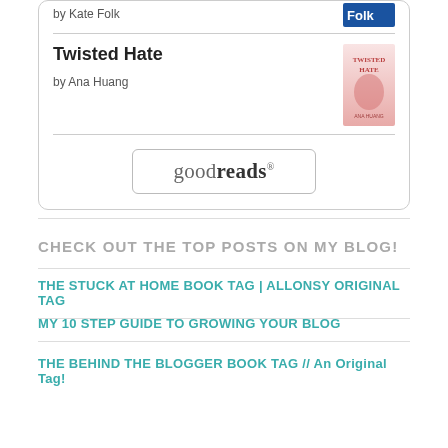by Kate Folk
Twisted Hate
by Ana Huang
[Figure (logo): goodreads button/logo with rounded rectangle border]
CHECK OUT THE TOP POSTS ON MY BLOG!
The Stuck At Home Book Tag | ALLONSY ORIGINAL TAG
MY 10 STEP GUIDE TO GROWING YOUR BLOG
THE BEHIND THE BLOGGER BOOK TAG // An Original Tag!